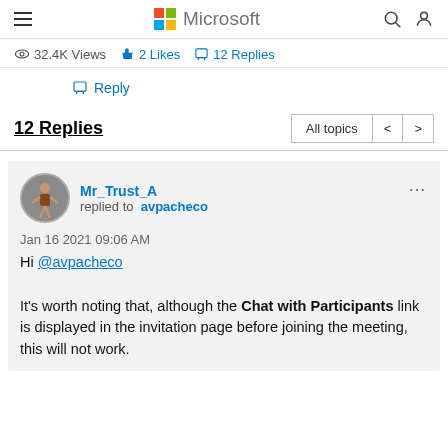Microsoft
32.4K Views  2 Likes  12 Replies
Reply
12 Replies
Mr_Trust_A replied to avpacheco
Jan 16 2021 09:06 AM
Hi @avpacheco
It’s worth noting that, although the Chat with Participants link is displayed in the invitation page before joining the meeting, this will not work.